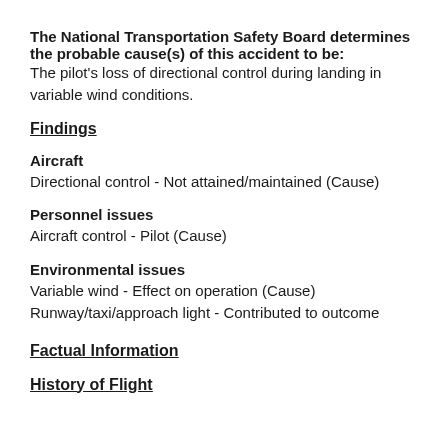The National Transportation Safety Board determines the probable cause(s) of this accident to be: The pilot's loss of directional control during landing in variable wind conditions.
Findings
Aircraft
Directional control - Not attained/maintained (Cause)
Personnel issues
Aircraft control - Pilot (Cause)
Environmental issues
Variable wind - Effect on operation (Cause)
Runway/taxi/approach light - Contributed to outcome
Factual Information
History of Flight